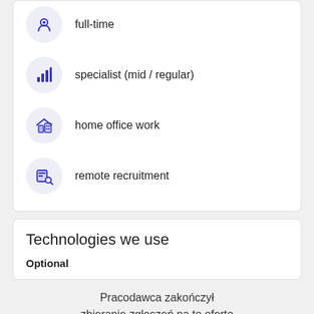full-time
specialist (mid / regular)
home office work
remote recruitment
Technologies we use
Optional
Pracodawca zakończył zbieranie zgłoszeń na tę ofertę
Aktualne oferty pracodawcy